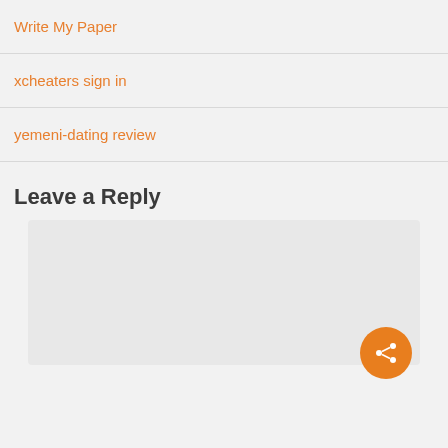Write My Paper
xcheaters sign in
yemeni-dating review
Leave a Reply
[Figure (other): Comment text area input box with share button overlay in bottom-right corner]